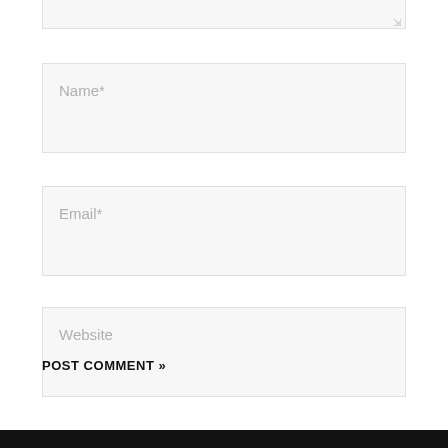[Figure (screenshot): Bottom portion of a web comment form showing three input fields (Name*, Email*, Website) and a POST COMMENT button, with a black footer bar at the bottom.]
Name*
Email*
Website
POST COMMENT »